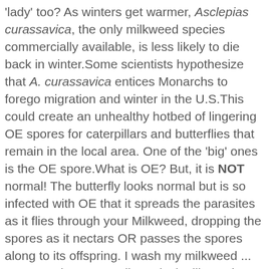'lady' too? As winters get warmer, Asclepias curassavica, the only milkweed species commercially available, is less likely to die back in winter.Some scientists hypothesize that A. curassavica entices Monarchs to forego migration and winter in the U.S.This could create an unhealthy hotbed of lingering OE spores for caterpillars and butterflies that remain in the local area. One of the 'big' ones is the OE spore.What is OE? But, it is NOT normal! The butterfly looks normal but is so infected with OE that it spreads the parasites as it flies through your Milkweed, dropping the spores as it nectars OR passes the spores along to its offspring. I wash my milkweed ... OH NO! The two small Tropical Milkweed plants at the top of the photo were grown from seed. It didn't take long to discover that aside from being very easy to grow, monarch butterflies love this variety of milkweed. Monarchs that have been parasitized with OE have been shown to live a shorter lifespan, have greater difficulty with flying longer distances, and pass the spores to their offspring. The butterfly looks normal but is so infected with OE that it spreads the